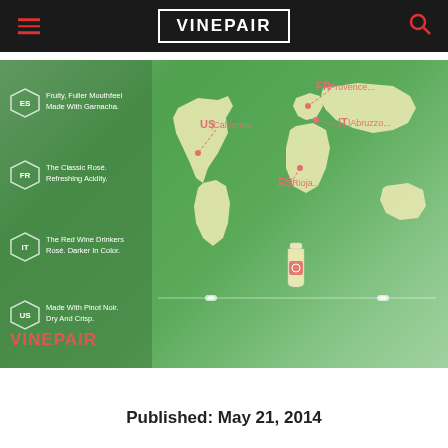VinePair
[Figure (map): Infographic showing world map with rosé wine regions labeled: US California, FR Provence, IT Abruzzo, ES Rioja. Left panel shows four hex badges: ES - Fruity, Fuller Mouthfeel Made With Garnacha.; FR - The Classic Rosé, Refreshing Acidity.; IT - The Red Wine Drinkers Rosé, Darker In Color.; US - Made With Pinot Noir, Dry And Crisp. VinePair logo at bottom left.]
Published: May 21, 2014